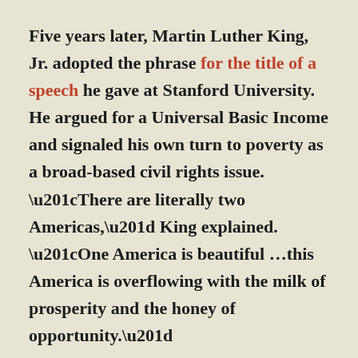Five years later, Martin Luther King, Jr. adopted the phrase for the title of a speech he gave at Stanford University. He argued for a Universal Basic Income and signaled his own turn to poverty as a broad-based civil rights issue. “There are literally two Americas,” King explained. “One America is beautiful …this America is overflowing with the milk of prosperity and the honey of opportunity.”
But tragically and unfortunately, there is another America. This other America has a daily ugliness about it that constantly transforms the ebulliency of hope into the fatigue of despair. In this America millions of